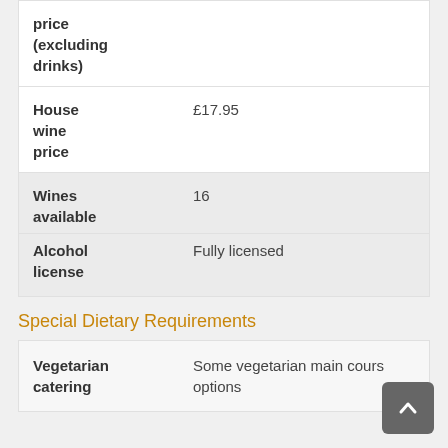|  |  |
| --- | --- |
| price (excluding drinks) |  |
| House wine price | £17.95 |
| Wines available | 16 |
| Alcohol license | Fully licensed |
Special Dietary Requirements
|  |  |
| --- | --- |
| Vegetarian catering | Some vegetarian main course options |